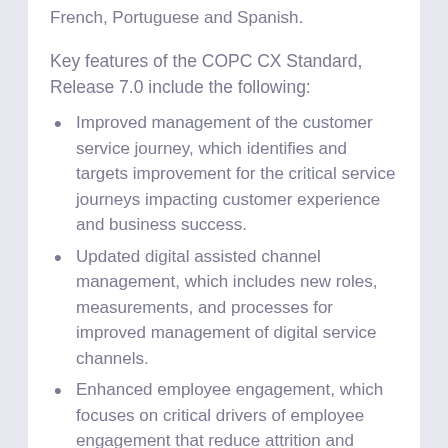French, Portuguese and Spanish.
Key features of the COPC CX Standard, Release 7.0 include the following:
Improved management of the customer service journey, which identifies and targets improvement for the critical service journeys impacting customer experience and business success.
Updated digital assisted channel management, which includes new roles, measurements, and processes for improved management of digital service channels.
Enhanced employee engagement, which focuses on critical drivers of employee engagement that reduce attrition and increase satisfaction.